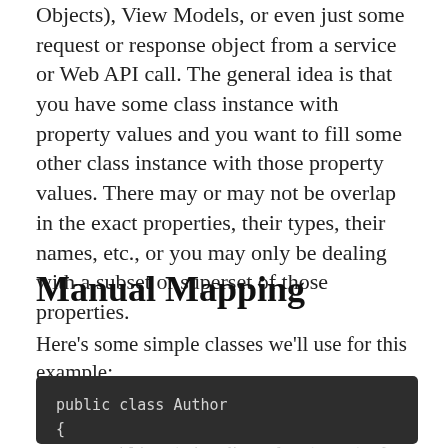Objects), View Models, or even just some request or response object from a service or Web API call. The general idea is that you have some class instance with property values and you want to fill some other class instance with those property values. There may or may not be overlap in the exact properties, their types, their names, etc., or you may only be dealing with a subset or superset of those properties.
Manual Mapping
Here's some simple classes we'll use for this example:
[Figure (screenshot): Dark-themed code block showing C# class definitions: public class Author { public string Name { get; set; } } and beginning of public class Book]